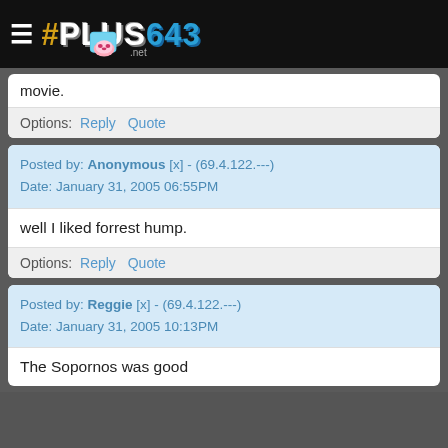# PLUS643 .net
movie.
Options: Reply Quote
Posted by: Anonymous [x] - (69.4.122.---)
Date: January 31, 2005 06:55PM
well I liked forrest hump.
Options: Reply Quote
Posted by: Reggie [x] - (69.4.122.---)
Date: January 31, 2005 10:13PM
The Sopornos was good